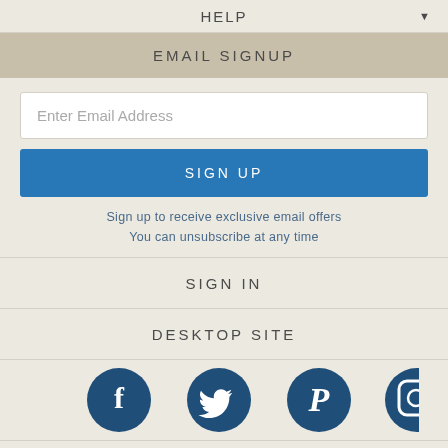HELP
EMAIL SIGNUP
Enter Email Address
SIGN UP
Sign up to receive exclusive email offers
You can unsubscribe at any time
SIGN IN
DESKTOP SITE
[Figure (illustration): Four social media icons in dark navy blue circles: Facebook (f), Twitter (bird), Pinterest (P), Instagram (camera)]
[Figure (logo): Partial dark navy blue logo with wave/book design at bottom of page]